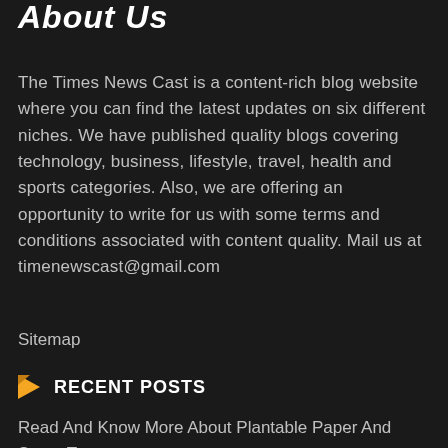About Us
The Times News Cast is a content-rich blog website where you can find the latest updates on six different niches. We have published quality blogs covering technology, business, lifestyle, travel, health and sports categories. Also, we are offering an opportunity to write for us with some terms and conditions associated with content quality. Mail us at timenewscast@gmail.com
Sitemap
RECENT POSTS
Read And Know More About Plantable Paper And Some T...